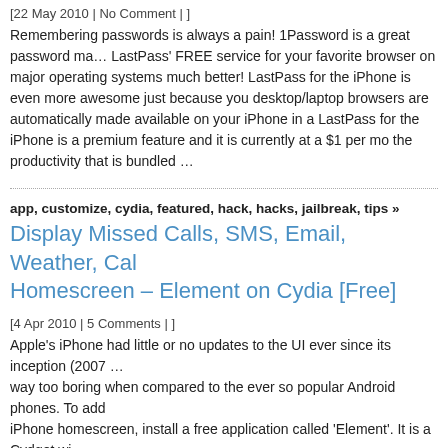[22 May 2010 | No Comment | ]
Remembering passwords is always a pain! 1Password is a great password ma… LastPass' FREE service for your favorite browser on major operating systems much better! LastPass for the iPhone is even more awesome just because you desktop/laptop browsers are automatically made available on your iPhone in a LastPass for the iPhone is a premium feature and it is currently at a $1 per mo the productivity that is bundled …
app, customize, cydia, featured, hack, hacks, jailbreak, tips »
Display Missed Calls, SMS, Email, Weather, Cal Homescreen – Element on Cydia [Free]
[4 Apr 2010 | 5 Comments | ]
Apple's iPhone had little or no updates to the UI ever since its inception (2007 … way too boring when compared to the ever so popular Android phones. To add iPhone homescreen, install a free application called 'Element'. It is a Cydget wi launch each individual app (weather, email, sms, calendar,.. updates). Followin your iPod Touch / iphone.
Your iPhone should be jailbroken before proceeding.
Launch Cydia and search for 'Element' and …